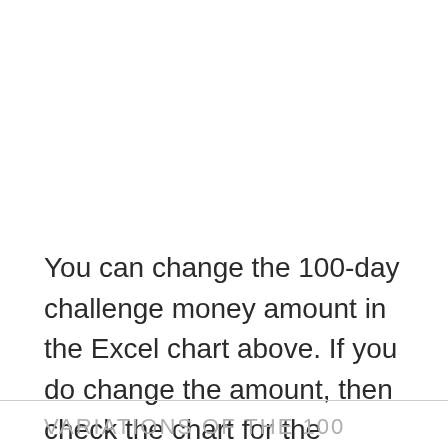You can change the 100-day challenge money amount in the Excel chart above. If you do change the amount, then check the chart for the amount you need to insert into the envelope each day.
VARIATIONS OF THE 100